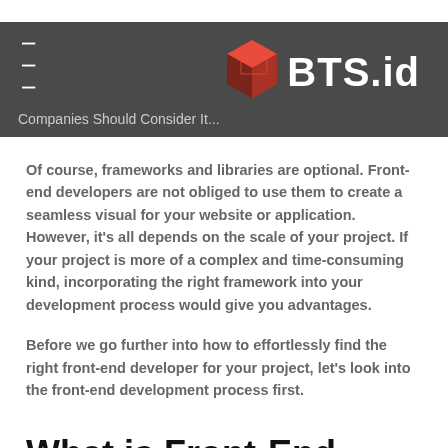BTS.id
Companies Should Consider It...
Of course, frameworks and libraries are optional. Front-end developers are not obliged to use them to create a seamless visual for your website or application. However, it's all depends on the scale of your project. If your project is more of a complex and time-consuming kind, incorporating the right framework into your development process would give you advantages.
Before we go further into how to effortlessly find the right front-end developer for your project, let's look into the front-end development process first.
What is Front-End Development and what do